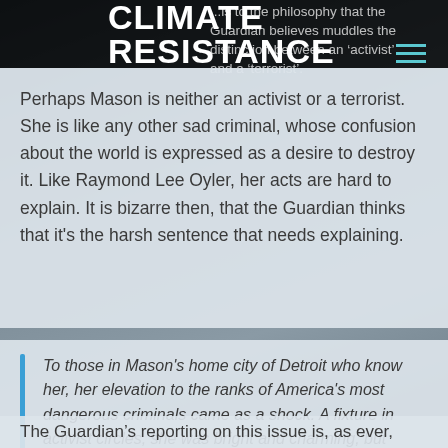CLIMATE RESISTANCE
...is to the philosophy that the Guardian believes muddles the distinction between an 'activist' and a 'terrorist'.
Perhaps Mason is neither an activist or a terrorist. She is like any other sad criminal, whose confusion about the world is expressed as a desire to destroy it. Like Raymond Lee Oyler, her acts are hard to explain. It is bizarre then, that the Guardian thinks that it's the harsh sentence that needs explaining.
To those in Mason's home city of Detroit who know her, her elevation to the ranks of America's most dangerous criminals came as a shock. A fixture in activist circles, she was bright and charming, but unfocused – a woman who had an advanced degree in chemistry but lived near the poverty line.
The Guardian's reporting on this issue is, as ever,